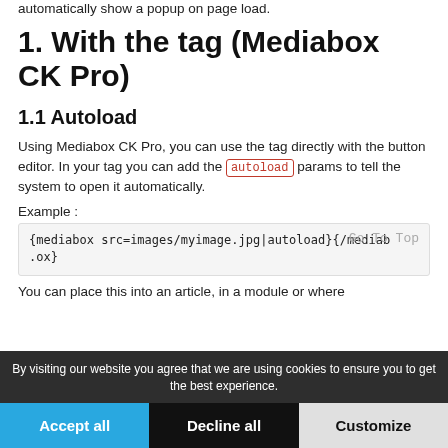automatically show a popup on page load.
1. With the tag (Mediabox CK Pro)
1.1 Autoload
Using Mediabox CK Pro, you can use the tag directly with the button editor. In your tag you can add the autoload params to tell the system to open it automatically.
Example :
{mediabox src=images/myimage.jpg|autoload}{/mediabox}
You can place this into an article, in a module or where
By visiting our website you agree that we are using cookies to ensure you to get the best experience.